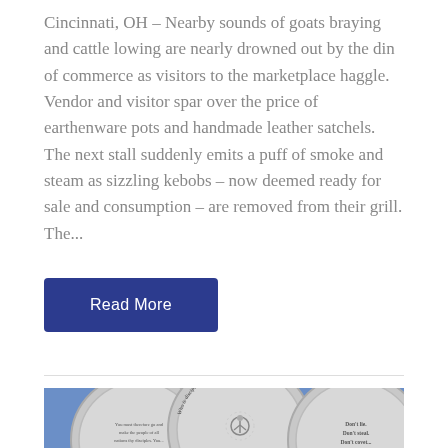Cincinnati, OH – Nearby sounds of goats braying and cattle lowing are nearly drowned out by the din of commerce as visitors to the marketplace haggle.  Vendor and visitor spar over the price of earthenware pots and handmade leather satchels.  The next stall suddenly emits a puff of smoke and steam as sizzling kebobs – now deemed ready for sale and consumption – are removed from their grill.  The...
Read More
[Figure (photo): Three silver coins on a blue background. The center coin reads 'Who is discipling you?' with a figure design. Left coin reads 'You must therefore go and make the people of all nations thy disciples. You...' Right coin reads 'Don't lie. Don't steal. Don't covet...']